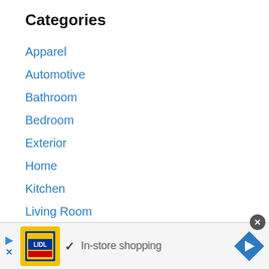Categories
Apparel
Automotive
Bathroom
Bedroom
Exterior
Home
Kitchen
Living Room
Pets
Sports
[Figure (screenshot): Advertisement banner at bottom: Lidl store ad with yellow logo, green checkmark, text 'In-store shopping', blue diamond arrow icon, and close button]